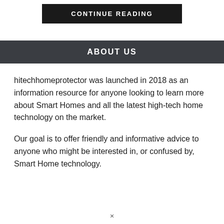CONTINUE READING
ABOUT US
hitechhomeprotector was launched in 2018 as an information resource for anyone looking to learn more about Smart Homes and all the latest high-tech home technology on the market.
Our goal is to offer friendly and informative advice to anyone who might be interested in, or confused by, Smart Home technology.
×